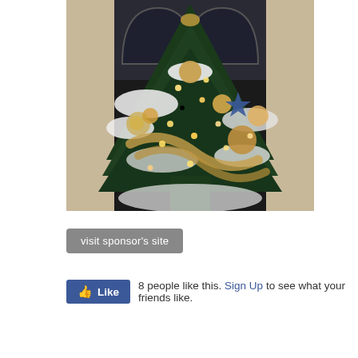[Figure (photo): A decorated Christmas tree with ornaments (gold balls, a star, ribbon/tinsel), white snow-like decoration, and glowing lights, photographed at night near a window with arched panes.]
visit sponsor's site
Like   8 people like this. Sign Up to see what your friends like.